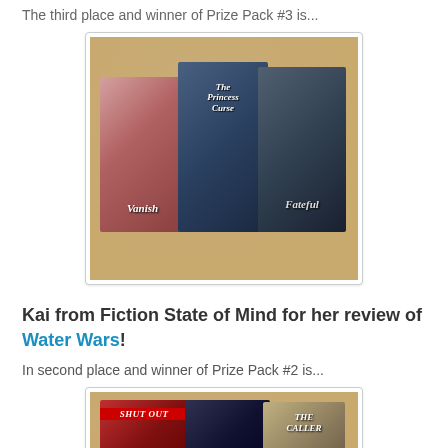The third place and winner of Prize Pack #3 is...
[Figure (photo): Photo of three book covers (Vanish, The Princess Curse, Fateful) laid on a cork/tan surface]
Kai from Fiction State of Mind for her review of Water Wars!
In second place and winner of Prize Pack #2 is...
[Figure (photo): Photo of book covers including Shut Out on a cork/tan surface (partially visible)]